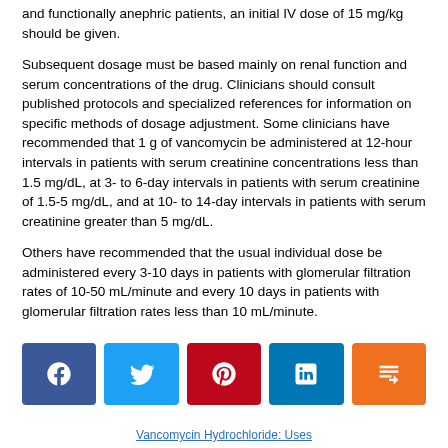and functionally anephric patients, an initial IV dose of 15 mg/kg should be given.
Subsequent dosage must be based mainly on renal function and serum concentrations of the drug. Clinicians should consult published protocols and specialized references for information on specific methods of dosage adjustment. Some clinicians have recommended that 1 g of vancomycin be administered at 12-hour intervals in patients with serum creatinine concentrations less than 1.5 mg/dL, at 3- to 6-day intervals in patients with serum creatinine of 1.5-5 mg/dL, and at 10- to 14-day intervals in patients with serum creatinine greater than 5 mg/dL.
Others have recommended that the usual individual dose be administered every 3-10 days in patients with glomerular filtration rates of 10-50 mL/minute and every 10 days in patients with glomerular filtration rates less than 10 mL/minute.
[Figure (other): Social sharing buttons: Facebook, Twitter, Pinterest, LinkedIn, Mix (orange)]
Vancomycin Hydrochloride: Uses